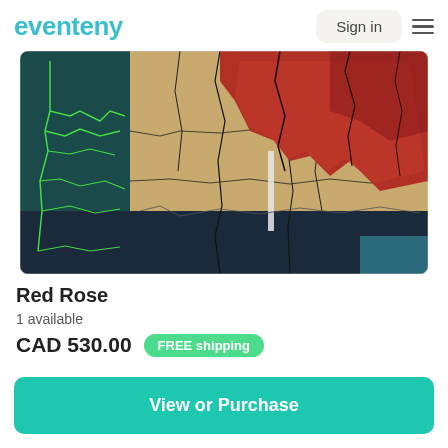eventeny | Sign in
[Figure (illustration): Abstract artwork titled Red Rose — a mixed-media painting with teal/dark background on the left, a large red/crimson organic shape dominating the upper right, tan/beige areas in the middle and right, with cracked/veined black lines throughout and green network lines on the left side.]
Red Rose
1 available
CAD 530.00  FREE shipping
View or Purchase